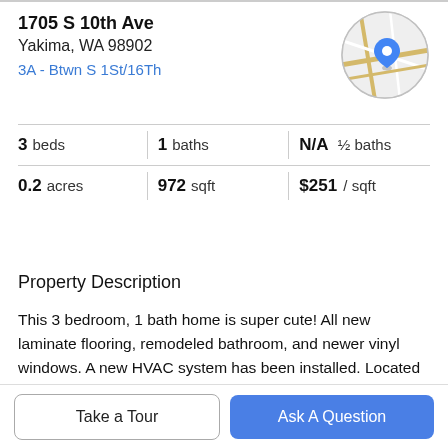1705 S 10th Ave
Yakima, WA 98902
3A - Btwn S 1St/16Th
[Figure (map): Circular map thumbnail showing street map with a blue location pin marker]
| Stat | Value |
| --- | --- |
| beds | 3 |
| baths | 1 |
| ½ baths | N/A |
| acres | 0.2 |
| sqft | 972 |
| price/sqft | $251 |
Property Description
This 3 bedroom, 1 bath home is super cute! All new laminate flooring, remodeled bathroom, and newer vinyl windows. A new HVAC system has been installed. Located on a quiet street, fully fenced and room for outside entertaining and gardening. The detached garage has